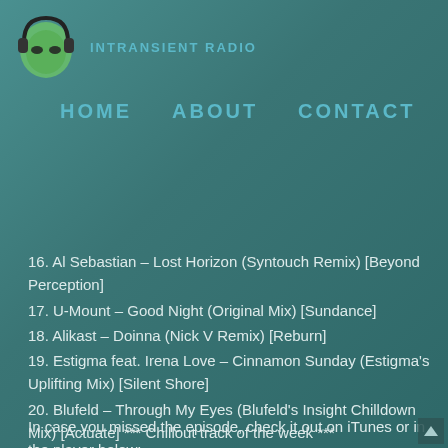[Figure (logo): Alien head with headphones logo icon, green alien face with black headphones]
INTRANSIENT RADIO
HOME   ABOUT   CONTACT
16. Al Sebastian – Lost Horizon (Syntouch Remix) [Beyond Perception]
17. U-Mount – Good Night (Original Mix) [Sundance]
18. Alikast – Doinna (Nick V Remix) [Reburn]
19. Estigma feat. Irena Love – Cinnamon Sunday (Estigma's Uplifting Mix) [Silent Shore]
20. Blufeld – Through My Eyes (Blufeld's Insight Chilldown Mix) [Actuate] *** Chillout track of the week ***
In case you missed the episode, check it out on iTunes or in the player below: